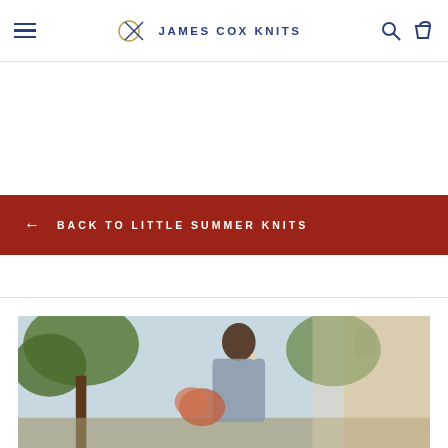JAMES COX KNITS
← BACK TO LITTLE SUMMER KNITS
[Figure (photo): Woman with short dark hair wearing a knit top, holding flowers, photographed outdoors with trees and a building in the background]